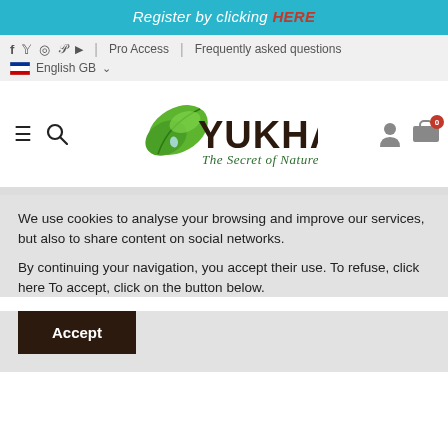Register by clicking HERE
f y instagram pinterest youtube | Pro Access | Frequently asked questions | English GB
[Figure (logo): Yukha - The Secret of Nature logo with green leaf and dark brown text]
We use cookies to analyse your browsing and improve our services, but also to share content on social networks.

By continuing your navigation, you accept their use. To refuse, click here To accept, click on the button below.
Accept